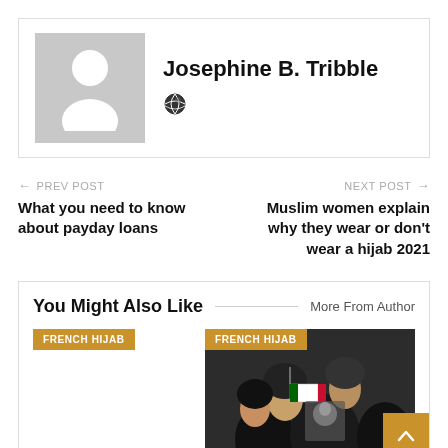Josephine B. Tribble
[Figure (photo): Globe/web icon]
← PREV POST
What you need to know about payday loans
NEXT POST →
Muslim women explain why they wear or don't wear a hijab 2021
You Might Also Like
More From Author
FRENCH HIJAB
[Figure (photo): Photo of Muslim women with FRENCH HIJAB tag]
[Figure (other): Scroll to top button with up arrow]